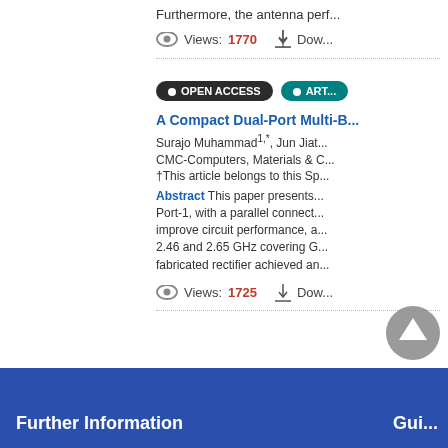Furthermore, the antenna perf...
Views: 1770
OPEN ACCESS  ART...
A Compact Dual-Port Multi-B...
Surajo Muhammad1,*, Jun Jiat...
CMC-Computers, Materials & C...
†This article belongs to this Sp...
Abstract This paper presents... Port-1, with a parallel connect... improve circuit performance, a... 2.46 and 2.65 GHz covering G... fabricated rectifier achieved an...
Views: 1725
Further Information
Gui...